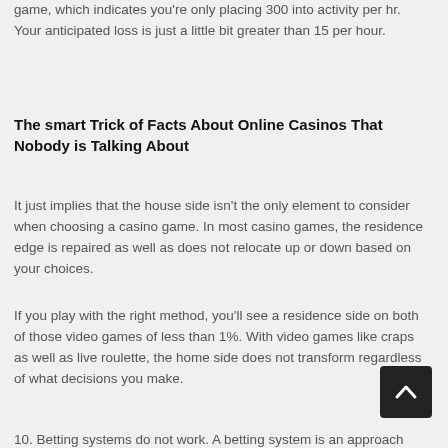game, which indicates you're only placing 300 into activity per hr. Your anticipated loss is just a little bit greater than 15 per hour.
The smart Trick of Facts About Online Casinos That Nobody is Talking About
It just implies that the house side isn't the only element to consider when choosing a casino game. In most casino games, the residence edge is repaired as well as does not relocate up or down based on your choices.
If you play with the right method, you'll see a residence side on both of those video games of less than 1%. With video games like craps as well as live roulette, the home side does not transform regardless of what decisions you make.
10. Betting systems do not work. A betting system is an approach for increasing or reducing your bets to try to obtain an edge over the gambling establishment. Over time, these approaches don't work, since they count on